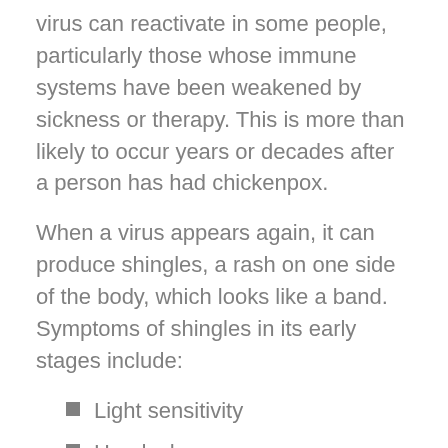virus can reactivate in some people, particularly those whose immune systems have been weakened by sickness or therapy. This is more than likely to occur years or decades after a person has had chickenpox.
When a virus appears again, it can produce shingles, a rash on one side of the body, which looks like a band. Symptoms of shingles in its early stages include:
Light sensitivity
Headache
Symptoms of the flu
Itching, tingling, or acute pain at the rash's onset